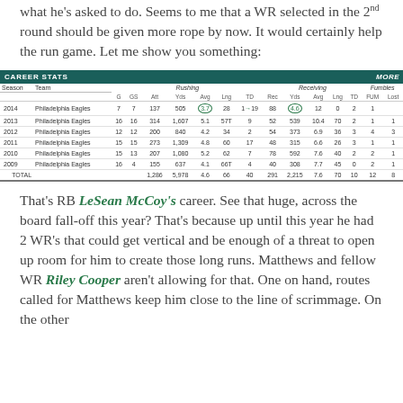what he's asked to do. Seems to me that a WR selected in the 2nd round should be given more rope by now. It would certainly help the run game. Let me show you something:
| Season | Team | G | GS | Att | Yds | Avg | Lng | TD | Rec | Yds | Avg | Lng | TD | FUM | Lost |
| --- | --- | --- | --- | --- | --- | --- | --- | --- | --- | --- | --- | --- | --- | --- | --- |
| 2014 | Philadelphia Eagles | 7 | 7 | 137 | 505 | 3.7 | 28 | 1 | 19 | 88 | 4.6 | 12 | 0 | 2 | 1 |
| 2013 | Philadelphia Eagles | 16 | 16 | 314 | 1,607 | 5.1 | 57T | 9 | 52 | 539 | 10.4 | 70 | 2 | 1 | 1 |
| 2012 | Philadelphia Eagles | 12 | 12 | 200 | 840 | 4.2 | 34 | 2 | 54 | 373 | 6.9 | 36 | 3 | 4 | 3 |
| 2011 | Philadelphia Eagles | 15 | 15 | 273 | 1,309 | 4.8 | 60 | 17 | 48 | 315 | 6.6 | 26 | 3 | 1 | 1 |
| 2010 | Philadelphia Eagles | 15 | 13 | 207 | 1,080 | 5.2 | 62 | 7 | 78 | 592 | 7.6 | 40 | 2 | 2 | 1 |
| 2009 | Philadelphia Eagles | 16 | 4 | 155 | 637 | 4.1 | 66T | 4 | 40 | 308 | 7.7 | 45 | 0 | 2 | 1 |
| TOTAL |  |  |  | 1,286 | 5,978 | 4.6 | 66 | 40 | 291 | 2,215 | 7.6 | 70 | 10 | 12 | 8 |
That's RB LeSean McCoy's career. See that huge, across the board fall-off this year? That's because up until this year he had 2 WR's that could get vertical and be enough of a threat to open up room for him to create those long runs. Matthews and fellow WR Riley Cooper aren't allowing for that. One on hand, routes called for Matthews keep him close to the line of scrimmage. On the other